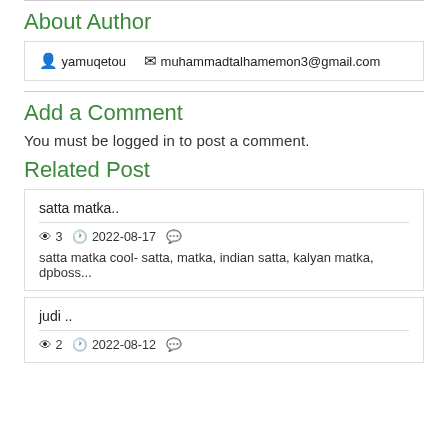About Author
yamuqetou   muhammadtalhamemon3@gmail.com
Add a Comment
You must be logged in to post a comment.
Related Post
satta matka..
3   2022-08-17
satta matka cool- satta, matka, indian satta, kalyan matka, dpboss...
judi ..
2   2022-08-12